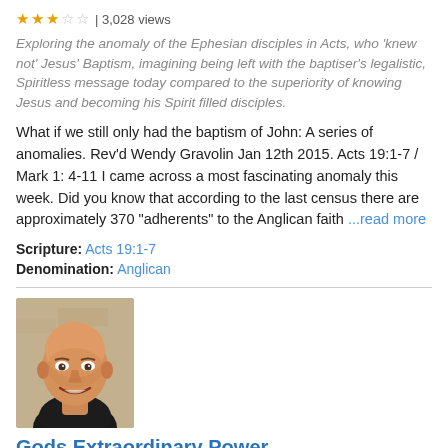★★★☆☆ | 3,028 views
Exploring the anomaly of the Ephesian disciples in Acts, who 'knew not' Jesus' Baptism, imagining being left with the baptiser's legalistic, Spiritless message today compared to the superiority of knowing Jesus and becoming his Spirit filled disciples.
What if we still only had the baptism of John: A series of anomalies. Rev'd Wendy Gravolin Jan 12th 2015. Acts 19:1-7 / Mark 1: 4-11 I came across a most fascinating anomaly this week. Did you know that according to the last census there are approximately 370 "adherents" to the Anglican faith ...read more
Scripture: Acts 19:1-7
Denomination: Anglican
[Figure (photo): Headshot photo of a bald older man smiling, wearing a dark jacket, against a light stone background]
Gods Extraordinary Power